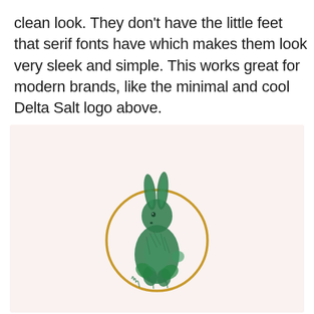clean look. They don't have the little feet that serif fonts have which makes them look very sleek and simple. This works great for modern brands, like the minimal and cool Delta Salt logo above.
[Figure (illustration): A green illustrated hare/rabbit sitting upright inside a gold circle ring, on a pale pink/cream background. The rabbit is rendered in a detailed engraving style in green ink, with a thin gold circular halo-like ring behind it.]